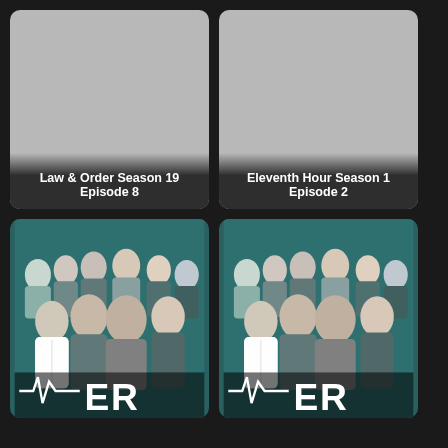[Figure (illustration): TV show card placeholder (grey) for Law & Order Season 19 Episode 8]
Law & Order Season 19 Episode 8
[Figure (illustration): TV show card placeholder (grey) for Eleventh Hour Season 1 Episode 2]
Eleventh Hour Season 1 Episode 2
[Figure (photo): ER TV show promotional image with cast, teal background, ER logo with heartbeat line]
[Figure (photo): ER TV show promotional image with cast, teal background, ER logo with heartbeat line (duplicate)]